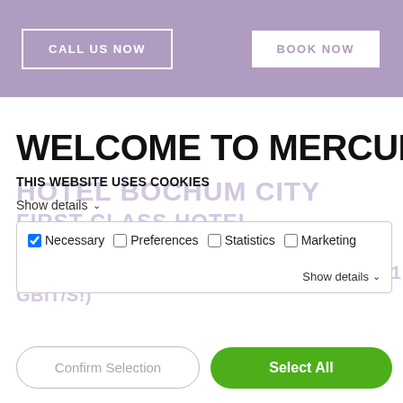CALL US NOW | BOOK NOW
WELCOME TO MERCURE
HOTEL BOCHUM CITY
FIRST CLASS HOTEL
DOWNTOWN BOCHUM NEXT TO
BOCHUM'S CHARGE-INLET FREE WIFI** (1 GBIT/S!)
THIS WEBSITE USES COOKIES
Show details
Necessary | Preferences | Statistics | Marketing
Show details
Confirm Selection
Select All